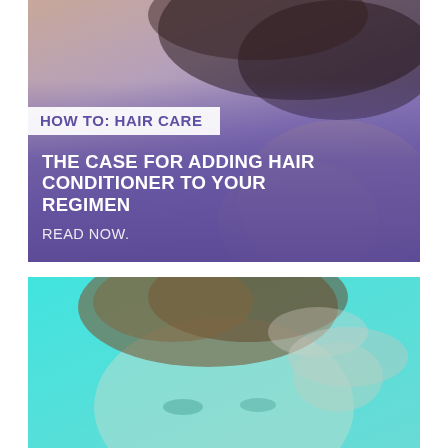[Figure (photo): Close-up photo of a person with dark wavy hair against a purple-toned background. The image has a purple gradient overlay. A white tag bar reads HOW TO: HAIR CARE in bold purple text.]
THE CASE FOR ADDING HAIR CONDITIONER TO YOUR REGIMEN
READ NOW.
[Figure (photo): Close-up photo of a woman with light brown hair touching/running her fingers through her hair, set against a bright teal/cyan background.]